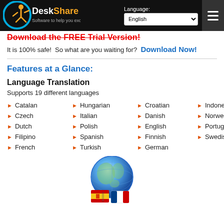DeskShare - Software to help you excel | Language: English
Download the FREE Trial Version!
It is 100% safe!  So what are you waiting for?  Download Now!
Features at a Glance:
Language Translation
Supports 19 different languages
Catalan
Czech
Dutch
Filipino
French
Hungarian
Italian
Polish
Spanish
Turkish
Croatian
Danish
English
Finnish
German
Indonesian
Norwegian
Portuguese
Swedish
[Figure (illustration): Blue globe with flag icons representing language translation feature]